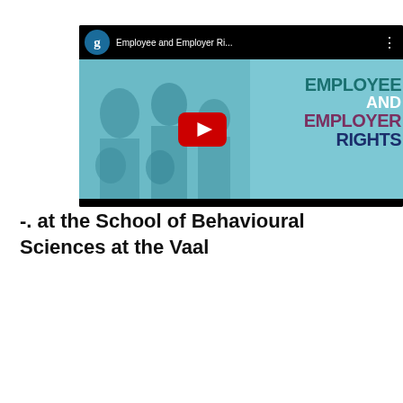[Figure (screenshot): YouTube video thumbnail embed showing 'Employee and Employer Ri...' video with a teal/cyan background featuring a group of diverse people, a red YouTube play button, and large bold text reading EMPLOYEE AND EMPLOYER RIGHTS. Top bar shows channel avatar with letter 'g' and video title. Bottom bar is black.]
-. at the School of Behavioural Sciences at the Vaal